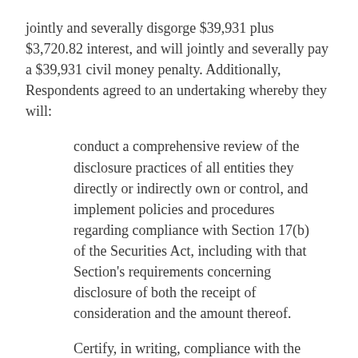jointly and severally disgorge $39,931 plus $3,720.82 interest, and will jointly and severally pay a $39,931 civil money penalty. Additionally, Respondents agreed to an undertaking whereby they will:
conduct a comprehensive review of the disclosure practices of all entities they directly or indirectly own or control, and implement policies and procedures regarding compliance with Section 17(b) of the Securities Act, including with that Section's requirements concerning disclosure of both the receipt of consideration and the amount thereof.
Certify, in writing, compliance with the undertaking set forth above . . .